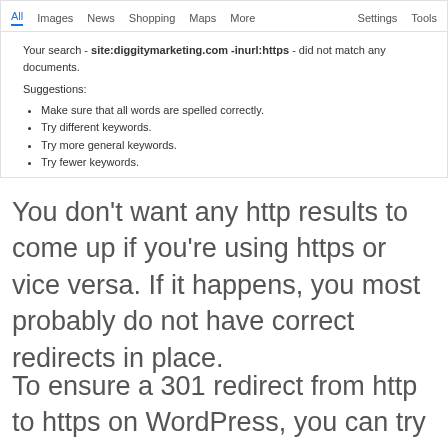[Figure (screenshot): Google search results screenshot showing navigation bar (All, Images, News, Shopping, Maps, More, Settings, Tools) and a 'did not match any documents' message with suggestions for site:diggitymarketing.com -inurl:https query]
You don't want any http results to come up if you're using https or vice versa. If it happens, you most probably do not have correct redirects in place.
To ensure a 301 redirect from http to https on WordPress, you can try using a combo of these 2 plugins: